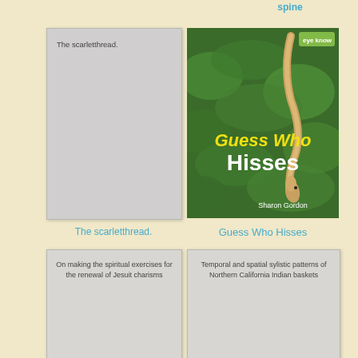spine
[Figure (illustration): Gray placeholder card with text 'The scarletthread.' inside, representing a book cover without image]
[Figure (photo): Book cover of 'Guess Who Hisses' by Sharon Gordon showing a snake on green foliage background, with yellow and white title text]
The scarletthread.
Guess Who Hisses
[Figure (illustration): Gray placeholder card with text 'On making the spiritual exercises for the renewal of Jesuit charisms' inside]
[Figure (illustration): Gray placeholder card with text 'Temporal and spatial sylistic patterns of Northern California Indian baskets' inside]